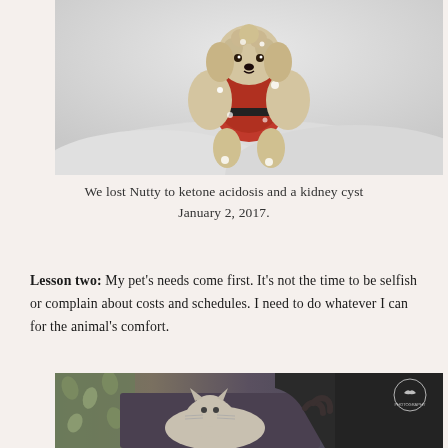[Figure (photo): A fluffy light-colored poodle wearing a red sweater/jacket, standing in deep snow. The dog faces the camera, covered in snow, with a snowy white background.]
We lost Nutty to ketone acidosis and a kidney cyst January 2, 2017.
Lesson two: My pet's needs come first. It's not the time to be selfish or complain about costs and schedules. I need to do whatever I can for the animal's comfort.
[Figure (photo): A partial view of a cat being held or petted by a person in dark clothing. The setting appears to be indoors with patterned fabric visible. A photographer watermark is visible in the upper right.]